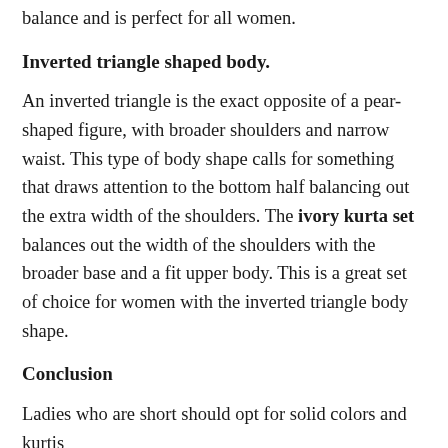balance and is perfect for all women.
Inverted triangle shaped body.
An inverted triangle is the exact opposite of a pear-shaped figure, with broader shoulders and narrow waist. This type of body shape calls for something that draws attention to the bottom half balancing out the extra width of the shoulders. The ivory kurta set balances out the width of the shoulders with the broader base and a fit upper body. This is a great set of choice for women with the inverted triangle body shape.
Conclusion
Ladies who are short should opt for solid colors and kurtis